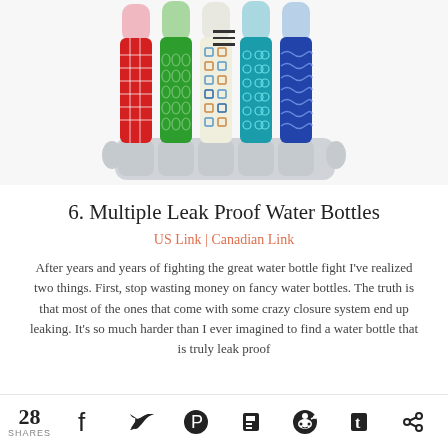[Figure (photo): Five colorful leak-proof water bottles in a gray holder/rack. Bottles have various patterns: red with grid pattern, green with diamond pattern, yellow/white with geometric squares, teal with circle patterns, and dark blue with wave patterns. Bottle tops are visible above showing pink, green, white, light blue, and light blue caps. A hamburger menu icon appears in the upper center.]
6. Multiple Leak Proof Water Bottles
US Link | Canadian Link
After years and years of fighting the great water bottle fight I've realized two things. First, stop wasting money on fancy water bottles. The truth is that most of the ones that come with some crazy closure system end up leaking. It's so much harder than I ever imagined to find a water bottle that is truly leak proof
28 SHARES [social share icons: Facebook, Twitter, Pinterest, Flipboard, Reddit, Tumblr, Share]